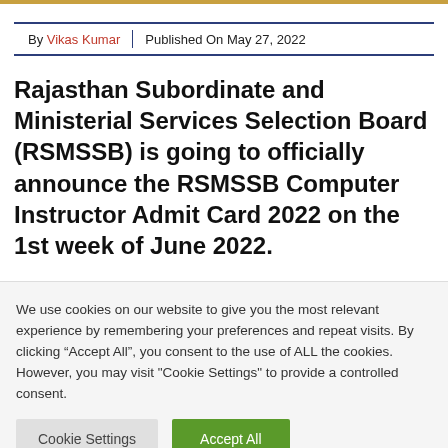By Vikas Kumar | Published On May 27, 2022
Rajasthan Subordinate and Ministerial Services Selection Board (RSMSSB) is going to officially announce the RSMSSB Computer Instructor Admit Card 2022 on the 1st week of June 2022.
We use cookies on our website to give you the most relevant experience by remembering your preferences and repeat visits. By clicking “Accept All”, you consent to the use of ALL the cookies. However, you may visit "Cookie Settings" to provide a controlled consent.